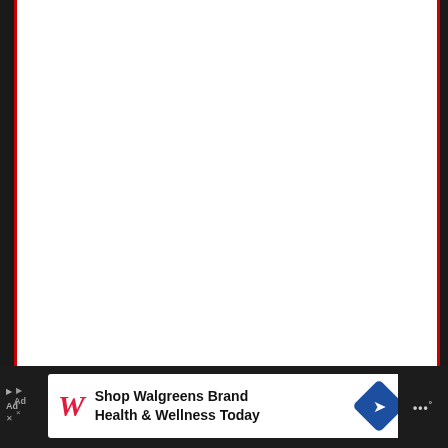[Figure (screenshot): Main content area with white background framed by red vertical border lines on left and right sides. Large empty white space occupying most of the upper portion of the page. Contains a blue circular like/heart button and a white circular share button on the right side. A 'WHAT'S NEXT' panel appears in the lower right showing a food thumbnail image with text 'What happens if you eat...']
[Figure (screenshot): Advertisement banner at bottom of page on dark background. Shows Walgreens advertisement: 'Shop Walgreens Brand Health & Wellness Today' with Walgreens cursive W logo and a blue navigation arrow icon. Partial weather widget visible at right edge.]